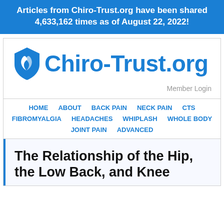Articles from Chiro-Trust.org have been shared 4,633,162 times as of August 22, 2022!
[Figure (logo): Chiro-Trust.org logo with blue shield icon and blue text]
Member Login
HOME   ABOUT   BACK PAIN   NECK PAIN   CTS   FIBROMYALGIA   HEADACHES   WHIPLASH   WHOLE BODY   JOINT PAIN   ADVANCED
The Relationship of the Hip, the Low Back, and Knee